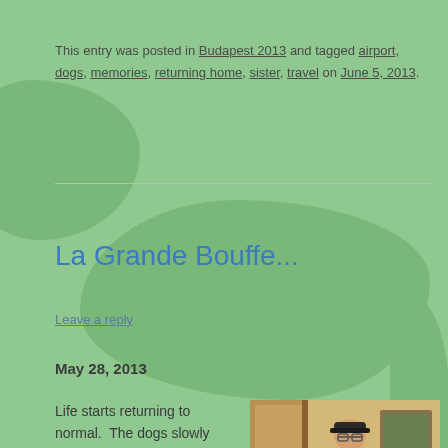This entry was posted in Budapest 2013 and tagged airport, dogs, memories, returning home, sister, travel on June 5, 2013.
La Grande Bouffe...
Leave a reply
May 28, 2013
Life starts returning to normal.  The dogs slowly bouncing back and
[Figure (photo): Photo of a person standing in a doorway or room, wearing glasses, a cap, and light-colored clothing]